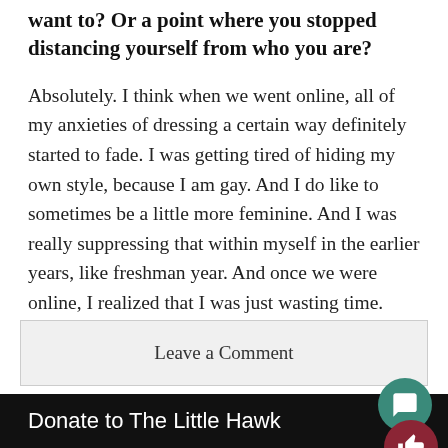want to? Or a point where you stopped distancing yourself from who you are?
Absolutely. I think when we went online, all of my anxieties of dressing a certain way definitely started to fade. I was getting tired of hiding my own style, because I am gay. And I do like to sometimes be a little more feminine. And I was really suppressing that within myself in the earlier years, like freshman year. And once we were online, I realized that I was just wasting time.
Leave a Comment
Donate to The Little Hawk